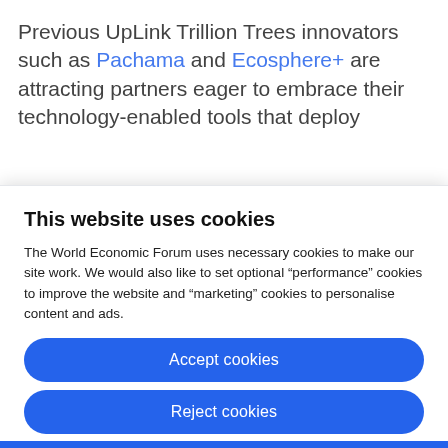Previous UpLink Trillion Trees innovators such as Pachama and Ecosphere+ are attracting partners eager to embrace their technology-enabled tools that deploy
This website uses cookies
The World Economic Forum uses necessary cookies to make our site work. We would also like to set optional "performance" cookies to improve the website and "marketing" cookies to personalise content and ads.
Accept cookies
Reject cookies
Cookie settings